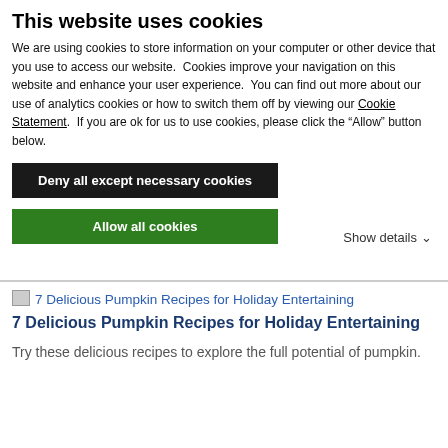This website uses cookies
We are using cookies to store information on your computer or other device that you use to access our website.  Cookies improve your navigation on this website and enhance your user experience.  You can find out more about our use of analytics cookies or how to switch them off by viewing our Cookie Statement.  If you are ok for us to use cookies, please click the “Allow” button below.
Deny all except necessary cookies
Allow all cookies
Show details
[Figure (other): Small image placeholder icon for article thumbnail]
7 Delicious Pumpkin Recipes for Holiday Entertaining
7 Delicious Pumpkin Recipes for Holiday Entertaining
Try these delicious recipes to explore the full potential of pumpkin.